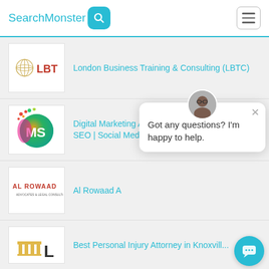[Figure (screenshot): SearchMonster website header with logo, search icon button, and hamburger menu button]
London Business Training & Consulting (LBTC)
[Figure (logo): LBT logo with globe and red LBT text]
Digital Marketing Agency Sydney | Web Design | SEO | Social Media
[Figure (logo): MS digital marketing agency logo with colorful circular design]
Al Rowaad A...
[Figure (logo): Al Rowaad Advocates & Legal Consultants logo in red text]
Got any questions? I'm happy to help.
Best Personal Injury Attorney in Knoxvill...